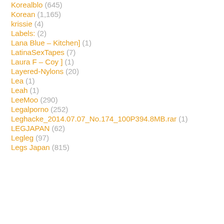Korealblo (645)
Korean (1,165)
krissie (4)
Labels: (2)
Lana Blue – Kitchen] (1)
LatinaSexTapes (7)
Laura F – Coy ] (1)
Layered-Nylons (20)
Lea (1)
Leah (1)
LeeMoo (290)
Legalporno (252)
Leghacke_2014.07.07_No.174_100P394.8MB.rar (1)
LEGJAPAN (62)
Legleg (97)
Legs Japan (815)